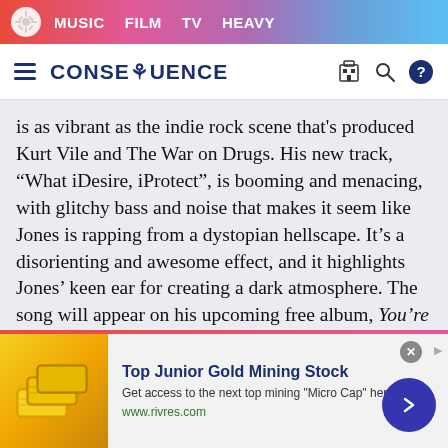MUSIC  FILM  TV  HEAVY
CONSEQUENCE
is as vibrant as the indie rock scene that's produced Kurt Vile and The War on Drugs. His new track, “What iDesire, iProtect”, is booming and menacing, with glitchy bass and noise that makes it seem like Jones is rapping from a dystopian hellscape. It’s a disorienting and awesome effect, and it highlights Jones’ keen ear for creating a dark atmosphere. The song will appear on his upcoming free album, You’re Safe Now, which is due out in March. –Josh Terry
[Figure (other): Advertisement for Top Junior Gold Mining Stock with gold bar image and call to action button linking to www.rivres.com]